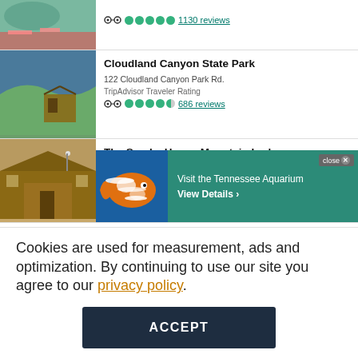[Figure (photo): Partial top listing image (rafting/outdoor activity)]
1130 reviews
[Figure (photo): Cloudland Canyon State Park scenic overlook photo]
Cloudland Canyon State Park
122 Cloudland Canyon Park Rd.
TripAdvisor Traveler Rating
686 reviews
[Figure (photo): The Smoke House Mountain Lodge & Cabins exterior photo]
The Smoke House Mountain Lodge & Cabins
844 W. Main St.
[Figure (photo): Tennessee Aquarium advertisement with clownfish image]
Visit the Tennessee Aquarium View Details ›
Cookies are used for measurement, ads and optimization. By continuing to use our site you agree to our privacy policy.
ACCEPT